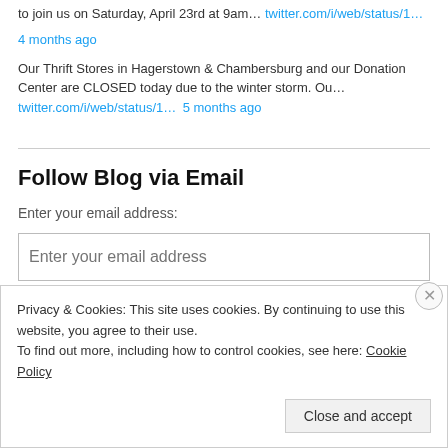to join us on Saturday, April 23rd at 9am… twitter.com/i/web/status/1…
4 months ago
Our Thrift Stores in Hagerstown & Chambersburg and our Donation Center are CLOSED today due to the winter storm. Ou… twitter.com/i/web/status/1… 5 months ago
Follow Blog via Email
Enter your email address:
Enter your email address
Privacy & Cookies: This site uses cookies. By continuing to use this website, you agree to their use.
To find out more, including how to control cookies, see here: Cookie Policy
Close and accept